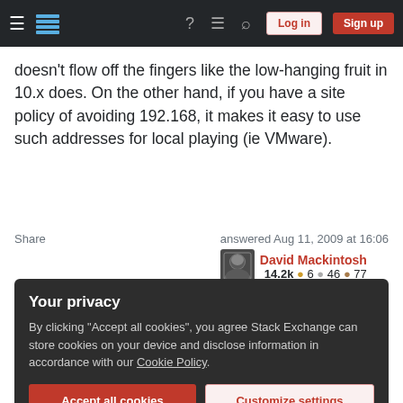Stack Exchange navigation bar with hamburger menu, logo, help, chat, search icons, Log in and Sign up buttons
doesn't flow off the fingers like the low-hanging fruit in 10.x does. On the other hand, if you have a site policy of avoiding 192.168, it makes it easy to use such addresses for local playing (ie VMware).
Share | answered Aug 11, 2009 at 16:06 | David Mackintosh | 14.2k ● 6 ● 46 ● 77
2  'it doesn't flow off the fingers' exactly how I see it too. – fduff Mar 10, 2015 at 8:33
Your privacy
By clicking "Accept all cookies", you agree Stack Exchange can store cookies on your device and disclose information in accordance with our Cookie Policy.
Accept all cookies | Customize settings
can resolve all domains but cannot access some sites